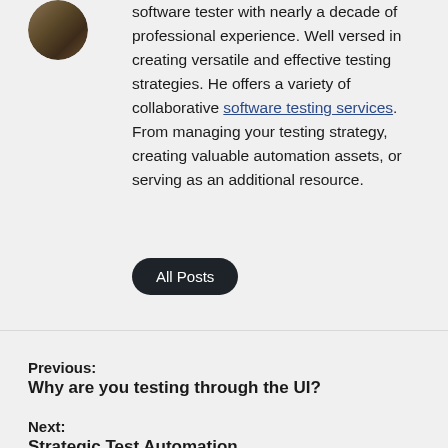[Figure (photo): Circular avatar/profile photo of a person with outdoor background]
software tester with nearly a decade of professional experience. Well versed in creating versatile and effective testing strategies. He offers a variety of collaborative software testing services. From managing your testing strategy, creating valuable automation assets, or serving as an additional resource.
All Posts
Previous:
Why are you testing through the UI?
Next:
Strategic Test Automation